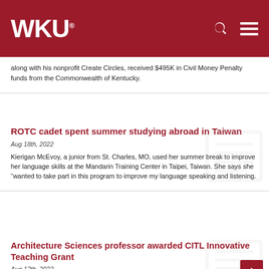WKU
along with his nonprofit Create Circles, received $495K in Civil Money Penalty funds from the Commonwealth of Kentucky.
ROTC cadet spent summer studying abroad in Taiwan
Aug 18th, 2022
Kierigan McEvoy, a junior from St. Charles, MO, used her summer break to improve her language skills at the Mandarin Training Center in Taipei, Taiwan. She says she “wanted to take part in this program to improve my language speaking and listening.
Architecture Sciences professor awarded CITL Innovative Teaching Grant
Aug 12th, 2022
Read More